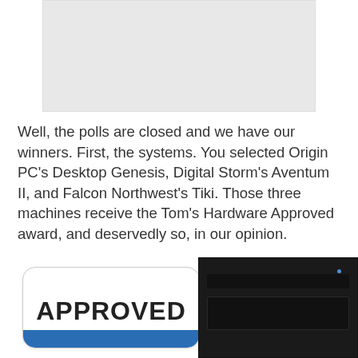[Figure (photo): Light gray rectangular placeholder image area at the top of the page]
Well, the polls are closed and we have our winners. First, the systems. You selected Origin PC's Desktop Genesis, Digital Storm's Aventum II, and Falcon Northwest's Tiki. Those three machines receive the Tom's Hardware Approved award, and deservedly so, in our opinion.
[Figure (photo): An 'APPROVED' badge/stamp with rounded rectangle in white with bold black text, alongside a black desktop PC tower chassis, partially cut off at the bottom of the page]